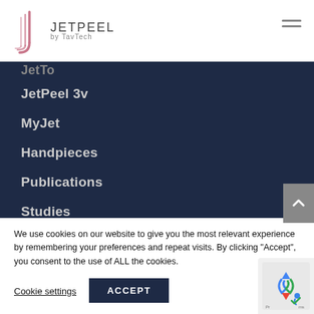[Figure (logo): JetPeel by TavTech logo with stylized J graphic in rose/pink color]
JetTo (truncated at top)
JetPeel 3v
MyJet
Handpieces
Publications
Studies
News (partially visible)
We use cookies on our website to give you the most relevant experience by remembering your preferences and repeat visits. By clicking “Accept”, you consent to the use of ALL the cookies.
Cookie settings   ACCEPT